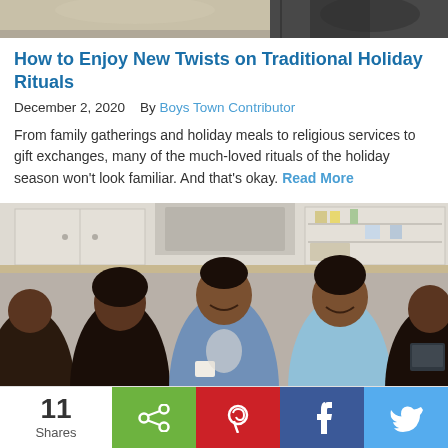[Figure (photo): Top portion of a photo showing people at a table, partially cropped]
How to Enjoy New Twists on Traditional Holiday Rituals
December 2, 2020    By Boys Town Contributor
From family gatherings and holiday meals to religious services to gift exchanges, many of the much-loved rituals of the holiday season won't look familiar. And that's okay. Read More
[Figure (photo): Family gathering around a kitchen table, laughing and enjoying each other's company]
11 Shares